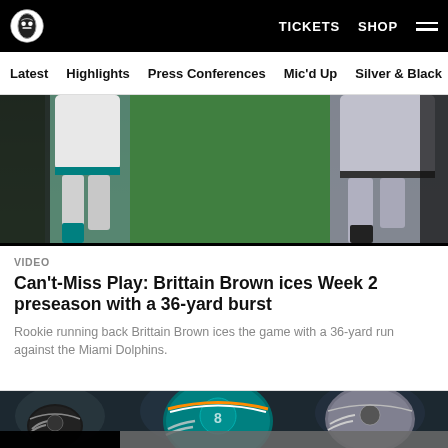TICKETS  SHOP
Latest  Highlights  Press Conferences  Mic'd Up  Silver & Black
[Figure (photo): Football players' legs running on a green field, one in teal/white Miami Dolphins uniform]
VIDEO
Can't-Miss Play: Brittain Brown ices Week 2 preseason with a 36-yard burst
Rookie running back Brittain Brown ices the game with a 36-yard run against the Miami Dolphins.
[Figure (photo): Football players wearing helmets including Miami Dolphins teal helmets and Raiders black helmets on a dark sideline]